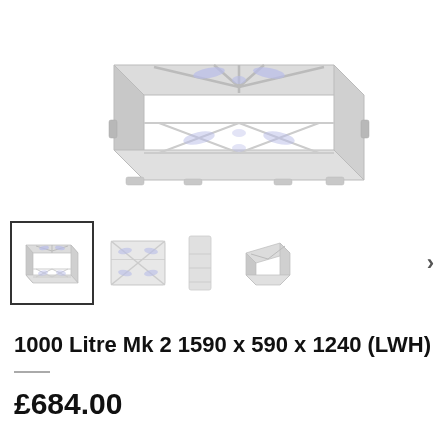[Figure (photo): 3D rendered image of a large white plastic crate/container with X-pattern ribbing and ventilation slots on the top face, viewed from a three-quarter perspective angle. The container is light grey/white with subtle blue-purple highlights on the recessed areas.]
[Figure (photo): Row of four product thumbnail images: first (active/selected) shows the same white crate in 3/4 view; second shows front view flat-on; third shows side/narrow view; fourth shows angled view from the right. A right-pointing chevron arrow appears at the far right for navigation.]
1000 Litre Mk 2 1590 x 590 x 1240 (LWH)
£684.00